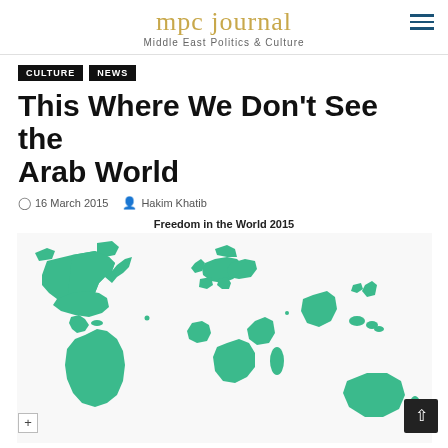mpc journal — Middle East Politics & Culture
CULTURE
NEWS
This Where We Don't See the Arab World
16 March 2015 — Hakim Khatib
[Figure (map): Freedom in the World 2015 — world map with free countries highlighted in green (North America, South America, Europe, sub-Saharan Africa, Australia, Japan, South Korea, India region visible). Middle East and North Africa region is not highlighted (white), illustrating where freedom is not seen in the Arab World.]
Freedom in the World 2015